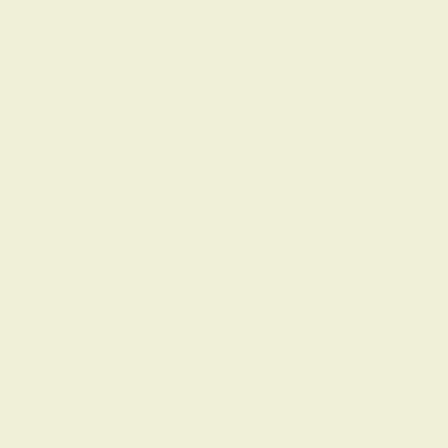Panel naprawczy tylnej ramy, zewnętrzny, prawy
[Figure (photo): Product photo of P183RO part - a dark metal repair panel piece]
| Price: 1280,00zł | Manufacturer: |
| Model Number: PP183RO | Added to Inventory on piątek, 12 kwietnia 20... |
Panel pod nogi, lewy Pre A (1950-...
[Figure (photo): Product photo of P152LT1 part - a flat metal panel with two square holes]
| Price: 1304,00zł | Manufacturer: |
| Model Number: PP152LT1 | Added to Inventory on piątek, 12 kwietnia 20... |
Panel pod nogi, lewy, 356A (1955-...
[Figure (photo): Product photo of P152L part]